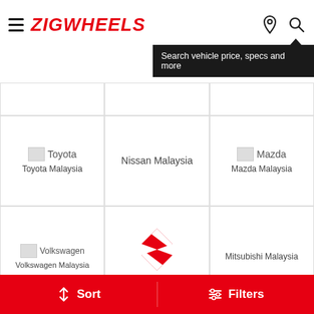ZIGWHEELS
Search vehicle price, specs and more
[Figure (screenshot): Toyota brand logo thumbnail with broken image indicator]
Toyota
Toyota Malaysia
Nissan Malaysia
[Figure (screenshot): Mazda brand logo thumbnail with broken image indicator]
Mazda
Mazda Malaysia
[Figure (screenshot): Volkswagen brand logo thumbnail with broken image indicator]
Volkswagen
Volkswagen Malaysia
[Figure (logo): Suzuki red S logo]
Suzuki Malaysia
Mitsubishi Malaysia
Sort   Filters